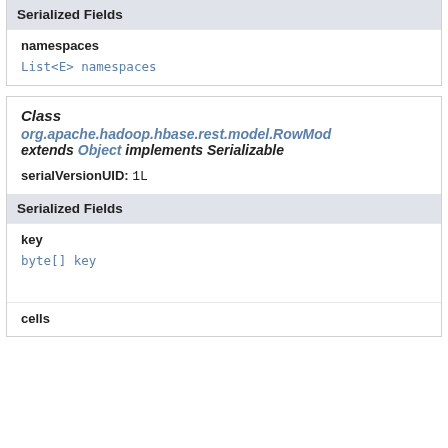Serialized Fields
namespaces
List<E> namespaces
Class
org.apache.hadoop.hbase.rest.model.RowMod...
extends Object implements Serializable
serialVersionUID: 1L
Serialized Fields
key
byte[] key
cells